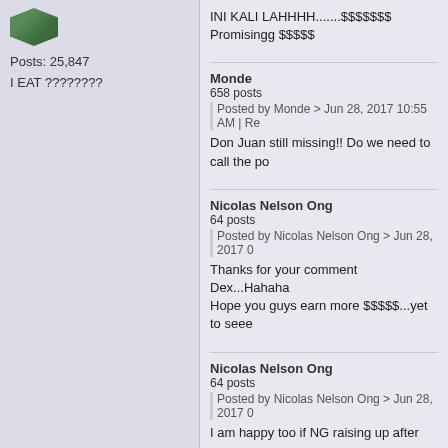[Figure (illustration): Green hexagonal avatar/icon]
Posts: 25,847
I EAT ????????
INI KALI LAHHHH.......$$$$$$$
Promisingg $$$$$
Monde
658 posts
Posted by Monde > Jun 28, 2017 10:55 AM | Re
Don Juan still missing!! Do we need to call the po
Nicolas Nelson Ong
64 posts
Posted by Nicolas Nelson Ong > Jun 28, 2017 0
Thanks for your comment Dex...Hahaha
Hope you guys earn more $$$$$...yet to seee
Nicolas Nelson Ong
64 posts
Posted by Nicolas Nelson Ong > Jun 28, 2017 0
I am happy too if NG raising up after raya....ever
cryinggggg
Monde
658 posts
Posted by Monde > Jun 28, 2017 04:24 PM | Re